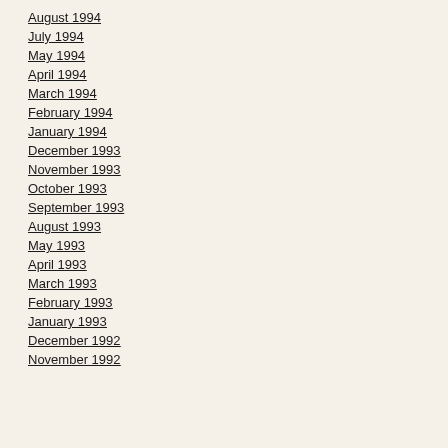August 1994
July 1994
May 1994
April 1994
March 1994
February 1994
January 1994
December 1993
November 1993
October 1993
September 1993
August 1993
May 1993
April 1993
March 1993
February 1993
January 1993
December 1992
November 1992